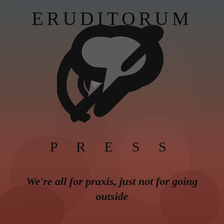[Figure (logo): Eruditorum Press logo: stylized 'EP' monogram in black on a dark muted reddish-brown classical painting background with overlay. Text reads ERUDITORUM at top, P R E S S below the logo mark, and tagline at bottom.]
ERUDITORUM
P R E S S
We're all for praxis, just not for going outside